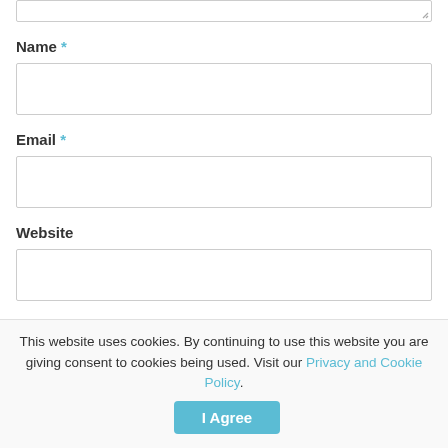[Figure (screenshot): Top portion of a textarea form field with a resize handle in the bottom-right corner]
Name *
[Figure (screenshot): Empty text input field for Name]
Email *
[Figure (screenshot): Empty text input field for Email]
Website
[Figure (screenshot): Empty text input field for Website]
Save my name, email, and website in this browser for the next time I comment.
This website uses cookies. By continuing to use this website you are giving consent to cookies being used. Visit our Privacy and Cookie Policy.